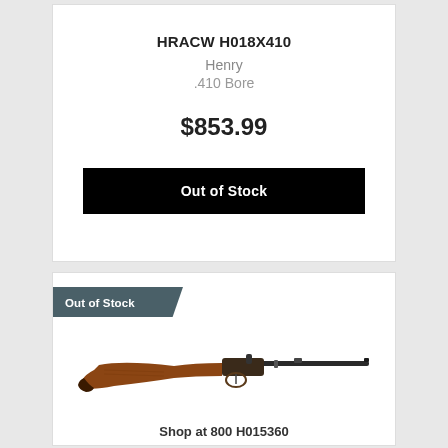HRACW H018X410
Henry
.410 Bore
$853.99
Out of Stock
Out of Stock
[Figure (photo): Henry single-shot rifle with wood stock and long barrel, shown in profile view]
Shop at 800 H015360